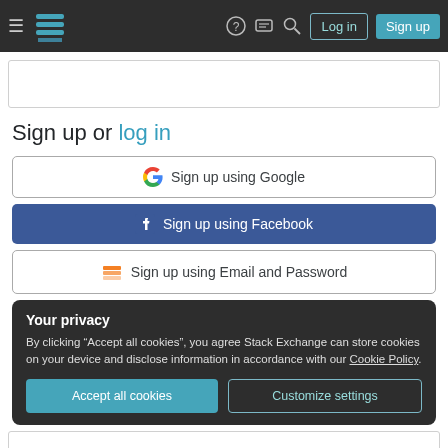Navigation bar with hamburger menu, Stack Exchange logo, help icon, chat icon, search icon, Log in button, Sign up button
Sign up or log in
[Figure (screenshot): Sign up using Google button with Google G logo]
[Figure (screenshot): Sign up using Facebook button with Facebook logo, dark blue background]
[Figure (screenshot): Sign up using Email and Password button with Stack Exchange email icon]
Your privacy
By clicking "Accept all cookies", you agree Stack Exchange can store cookies on your device and disclose information in accordance with our Cookie Policy.
Accept all cookies | Customize settings